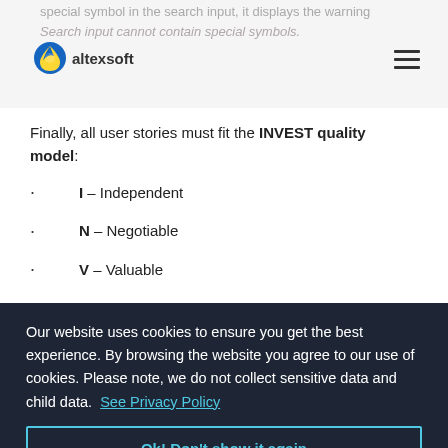special symbol in the search input, it displays the warning Search input cannot contain special symbols.
Finally, all user stories must fit the INVEST quality model:
I – Independent
N – Negotiable
V – Valuable
Our website uses cookies to ensure you get the best experience. By browsing the website you agree to our use of cookies. Please note, we do not collect sensitive data and child data. See Privacy Policy
Ok! Don't show it again